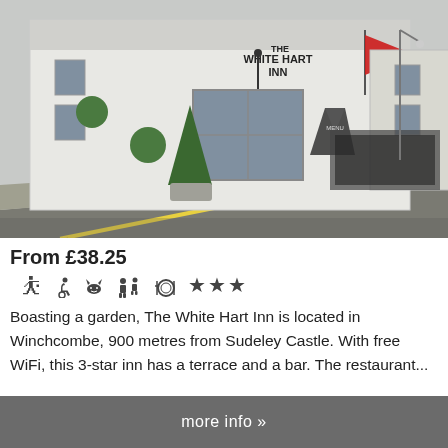[Figure (photo): Exterior photo of The White Hart Inn in Winchcombe, a white-painted building with a sign reading 'The White Hart Inn', topiary bushes, a sandwich board sign, and a red flag, on a town street.]
From £38.25
Amenity icons: bath/spa, wheelchair accessible, pets allowed, family friendly, dining/restaurant, 3 stars
Boasting a garden, The White Hart Inn is located in Winchcombe, 900 metres from Sudeley Castle. With free WiFi, this 3-star inn has a terrace and a bar. The restaurant...
more info »